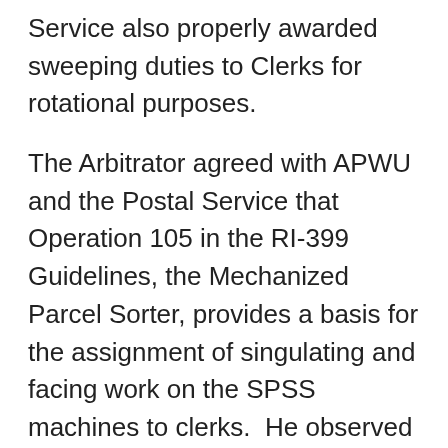Service also properly awarded sweeping duties to Clerks for rotational purposes.
The Arbitrator agreed with APWU and the Postal Service that Operation 105 in the RI-399 Guidelines, the Mechanized Parcel Sorter, provides a basis for the assignment of singulating and facing work on the SPSS machines to clerks.  He observed that SPSS machines process “approximately equal amounts of first-class packages and priority packages which, as argued by the APWU, meets the definition, in RI-399…of ‘parcels…’”
The Arbitrator also agreed with the APWU